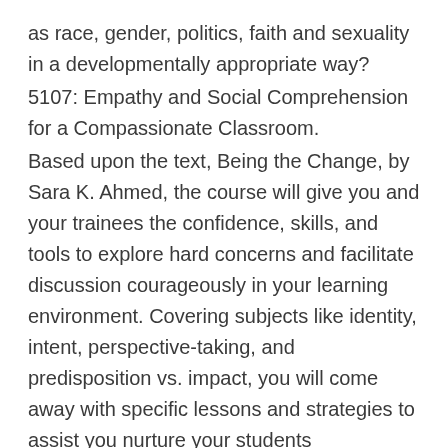as race, gender, politics, faith and sexuality in a developmentally appropriate way?
5107: Empathy and Social Comprehension for a Compassionate Classroom.
Based upon the text, Being the Change, by Sara K. Ahmed, the course will give you and your trainees the confidence, skills, and tools to explore hard concerns and facilitate discussion courageously in your learning environment. Covering subjects like identity, intent, perspective-taking, and predisposition vs. impact, you will come away with specific lessons and strategies to assist you nurture your students comprehension of social concerns..
5128: Creating an Anti-Racist Classroom.
Speaking about race, however tough, is needed, no matter your background, race, or comfort level. In this effective course, you will examine your own racial socialization and learn about the intricate history of race in America. When